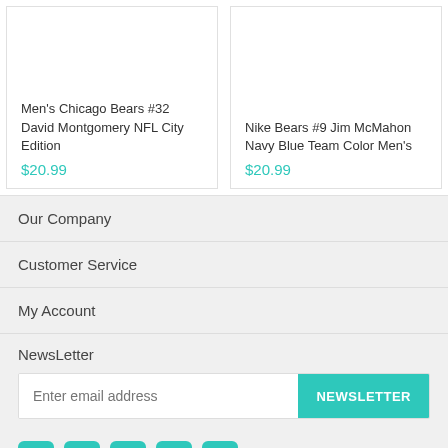Men's Chicago Bears #32 David Montgomery NFL City Edition
$20.99
Nike Bears #9 Jim McMahon Navy Blue Team Color Men's
$20.99
Our Company
Customer Service
My Account
NewsLetter
Enter email address
NEWSLETTER
[Figure (other): Social media icons: Facebook, Pinterest, Google+, Twitter, Instagram]